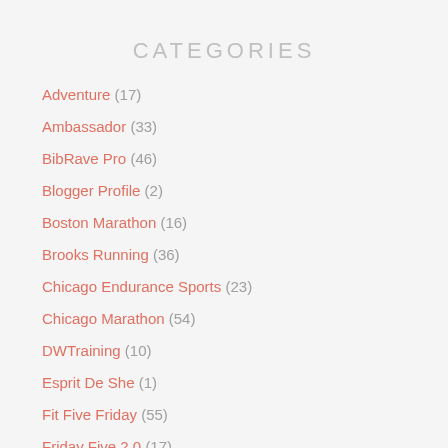CATEGORIES
Adventure (17)
Ambassador (33)
BibRave Pro (46)
Blogger Profile (2)
Boston Marathon (16)
Brooks Running (36)
Chicago Endurance Sports (23)
Chicago Marathon (54)
DWTraining (10)
Esprit De She (1)
Fit Five Friday (55)
Friday Five 2.0 (17)